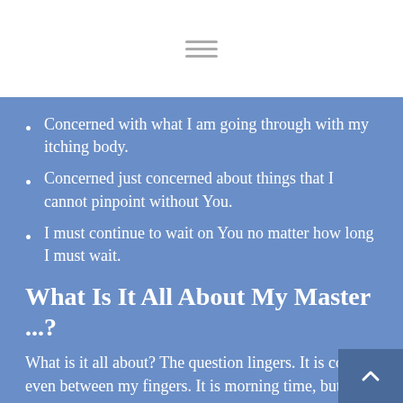Concerned with what I am going through with my itching body.
Concerned just concerned about things that I cannot pinpoint without You.
I must continue to wait on You no matter how long I must wait.
What Is It All About My Master ...?
What is it all about? The question lingers. It is cold even between my fingers. It is morning time, but I am in limbo super time. The question lingers. It is cold even between my fingers.